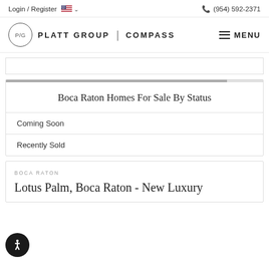Login / Register  (954) 592-2371
[Figure (logo): Platt Group | Compass logo with circular P/G emblem and hamburger menu]
Boca Raton Homes For Sale By Status
Coming Soon
Recently Sold
BOCA RATON
Lotus Palm, Boca Raton - New Luxury